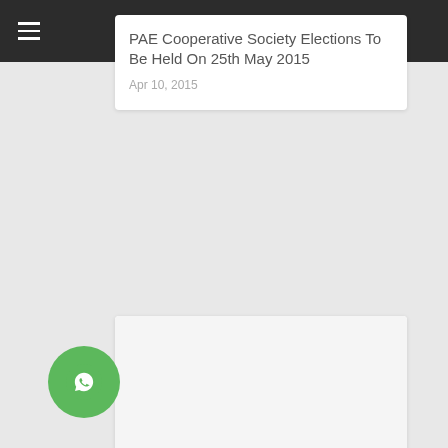PAE Cooperative Society Elections To Be Held On 25th May 2015
Apr 10, 2015
[Figure (photo): Blank/white image placeholder for article about CDA 7th Avenue]
CDA To Expedite Work On 7th Avenue of Islamabad
Jun 7, 2022